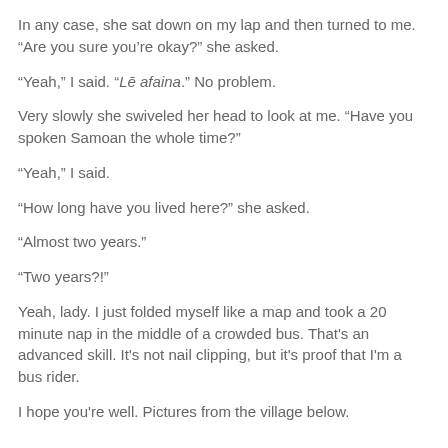In any case, she sat down on my lap and then turned to me. “Are you sure you’re okay?” she asked.
“Yeah,” I said. “Lē afaina.” No problem.
Very slowly she swiveled her head to look at me. “Have you spoken Samoan the whole time?”
“Yeah,” I said.
“How long have you lived here?” she asked.
“Almost two years.”
“Two years?!”
Yeah, lady. I just folded myself like a map and took a 20 minute nap in the middle of a crowded bus. That’s an advanced skill. It’s not nail clipping, but it’s proof that I’m a bus rider.
I hope you’re well. Pictures from the village below.